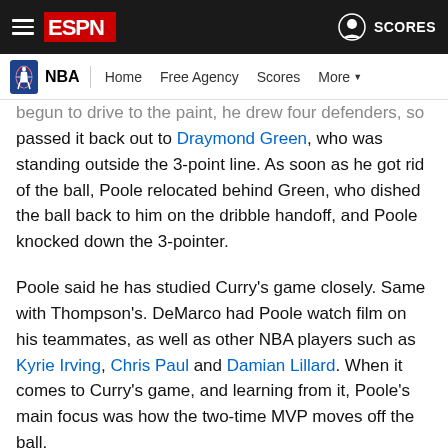ESPN — SCORES
NBA | Home | Free Agency | Scores | More
begun to drive to the paint, he drew four defenders, so he passed it back out to Draymond Green, who was standing outside the 3-point line. As soon as he got rid of the ball, Poole relocated behind Green, who dished the ball back to him on the dribble handoff, and Poole knocked down the 3-pointer.
Poole said he has studied Curry's game closely. Same with Thompson's. DeMarco had Poole watch film on his teammates, as well as other NBA players such as Kyrie Irving, Chris Paul and Damian Lillard. When it comes to Curry's game, and learning from it, Poole's main focus was how the two-time MVP moves off the ball.
Now, he has Curry seeing double.